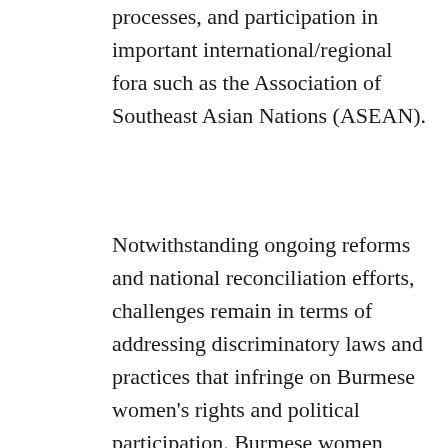processes, and participation in important international/regional fora such as the Association of Southeast Asian Nations (ASEAN).
Notwithstanding ongoing reforms and national reconciliation efforts, challenges remain in terms of addressing discriminatory laws and practices that infringe on Burmese women's rights and political participation. Burmese women, especially those from ethnic communities, are essentially disenfranchised, marginalized and excluded from every level of post-conflict transition, especially where important decisions are made. The country has one of the world's lowest number of women in the National Parliament, with only 5.7% seats in